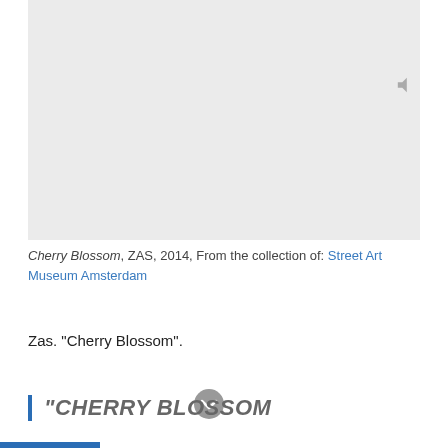[Figure (photo): Large light gray rectangular image area representing a photograph (Cherry Blossom by ZAS, 2014)]
Cherry Blossom, ZAS, 2014, From the collection of: Street Art Museum Amsterdam
Zas. "Cherry Blossom".
"CHERRY BLOSSOM